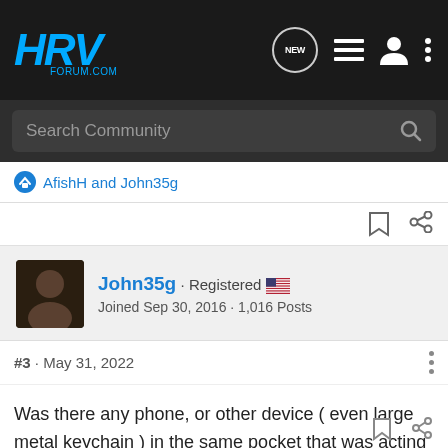HRV Forum.com — header with navigation icons
Search Community
AfishH and John35g
John35g · Registered
Joined Sep 30, 2016 · 1,016 Posts
#3 · May 31, 2022
Was there any phone, or other device ( even large metal keychain ) in the same pocket that was acting as shielding so the car could not detect the fob ?